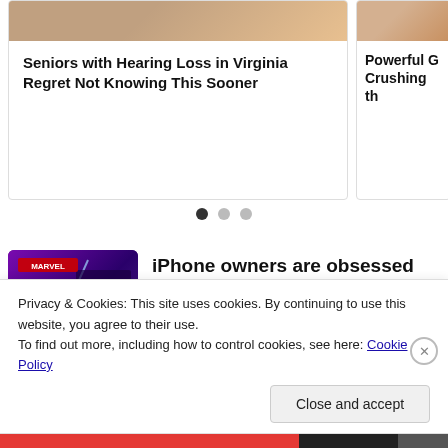[Figure (photo): Cropped photo visible at the very top, showing fingers/skin tones, part of a content recommendation card.]
Seniors with Hearing Loss in Virginia Regret Not Knowing This Sooner
[Figure (photo): Partially visible second card image on the right, showing sandy/skin tones.]
Powerful G Crushing th
[Figure (other): Three pagination dots, first dot filled/active, two grayed out.]
[Figure (photo): MARVEL Strike Force game advertisement image showing characters KYRIE and MIGHTY TH with star ratings.]
iPhone owners are obsessed with this Marvel game
MARVEL Strike Force
Privacy & Cookies: This site uses cookies. By continuing to use this website, you agree to their use.
To find out more, including how to control cookies, see here: Cookie Policy
Close and accept